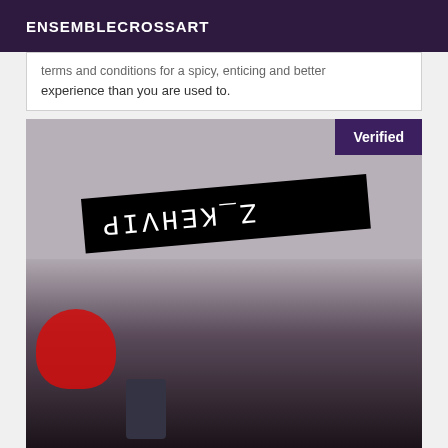ENSEMBLECROSSART
...terms and conditions for a spicy, enticing and better experience than you are used to.
[Figure (photo): Photo of a person taking a selfie, with a black rectangular sign overlay displaying mirrored/reversed text reading 'Z_KEHVIP' (mirror of 'PIVHEK_Z'). A 'Verified' badge appears in the top right corner of the image.]